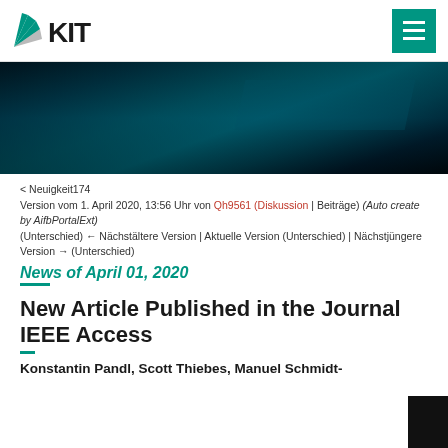KIT logo and navigation menu
[Figure (illustration): Dark teal/navy abstract hero banner with blurred light streaks]
< Neuigkeit174
Version vom 1. April 2020, 13:56 Uhr von Qh9561 (Diskussion | Beiträge) (Auto create by AifbPortalExt)
(Unterschied) ← Nächstältere Version | Aktuelle Version (Unterschied) | Nächstjüngere Version → (Unterschied)
News of April 01, 2020
New Article Published in the Journal IEEE Access
Konstantin Pandl, Scott Thiebes, Manuel Schmidt-